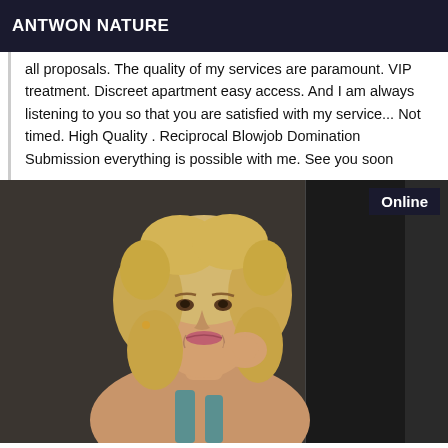ANTWON NATURE
all proposals. The quality of my services are paramount. VIP treatment. Discreet apartment easy access. And I am always listening to you so that you are satisfied with my service... Not timed. High Quality . Reciprocal Blowjob Domination Submission everything is possible with me. See you soon
[Figure (photo): A blonde woman with curly hair, smiling, leaning against a dark wall. An 'Online' badge is shown in the top right of the image.]